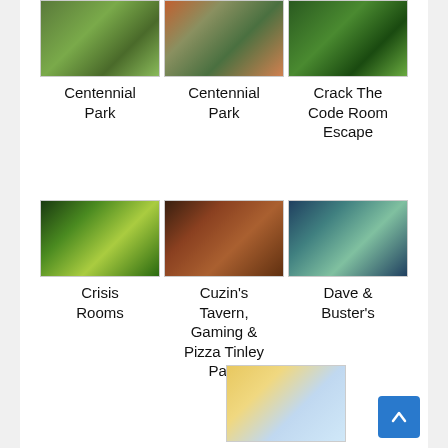[Figure (photo): Centennial Park outdoor scene with green trees]
Centennial Park
[Figure (photo): Centennial Park another view]
Centennial Park
[Figure (photo): Crack The Code Room Escape]
Crack The Code Room Escape
[Figure (photo): Crisis Rooms building exterior at night with green lights]
Crisis Rooms
[Figure (photo): Cuzin's Tavern Gaming & Pizza Tinley Park bartender]
Cuzin's Tavern, Gaming & Pizza Tinley Park
[Figure (photo): Dave & Buster's interior with people celebrating]
Dave & Buster's
[Figure (photo): EVEN Hotel Chicago-Tinley Park outdoor patio with yellow umbrellas]
EVEN Hotel Chicago-Tinley Park-Conv Ctr, an IHG Hotel